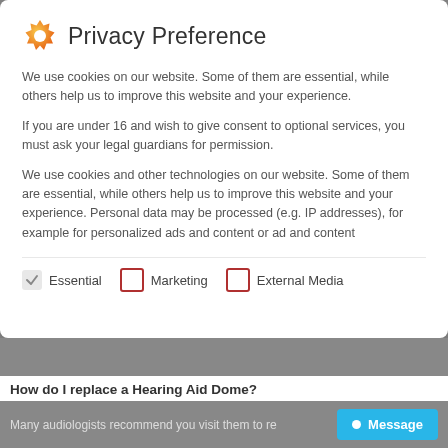Privacy Preference
We use cookies on our website. Some of them are essential, while others help us to improve this website and your experience.
If you are under 16 and wish to give consent to optional services, you must ask your legal guardians for permission.
We use cookies and other technologies on our website. Some of them are essential, while others help us to improve this website and your experience. Personal data may be processed (e.g. IP addresses), for example for personalized ads and content or ad and content
Essential
Marketing
External Media
How do I replace a Hearing Aid Dome?
Many audiologists recommend you visit them to re